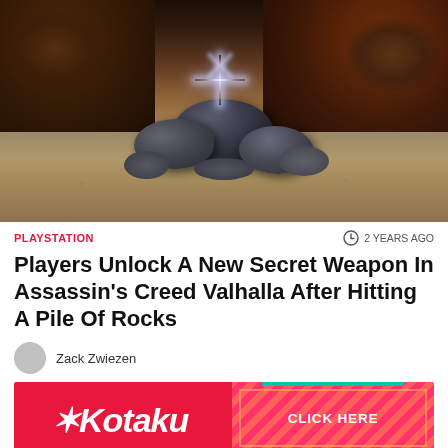[Figure (screenshot): Game screenshot from Assassin's Creed Valhalla showing a pile of dark rocks on a cobblestone/pebble ground with a sparkle/glint effect above the rocks, surrounded by dark reddish-brown foliage and bushes in the background.]
PLAYSTATION
2 YEARS AGO
Players Unlock A New Secret Weapon In Assassin's Creed Valhalla After Hitting A Pile Of Rocks
Zack Zwiezen
[Figure (logo): Kotaku advertisement banner with red background. Left side shows Kotaku logo in white italic text. Right side shows 'CLICK HERE' button with diagonal stripe pattern.]